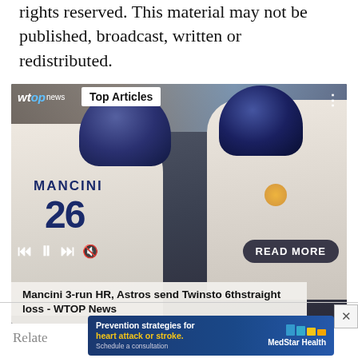rights reserved. This material may not be published, broadcast, written or redistributed.
[Figure (photo): Two Houston Astros baseball players in white jerseys celebrating, one wearing #26 MANCINI jersey. WTOP news logo and 'Top Articles' overlay visible. Media player controls and 'READ MORE' button at bottom. Caption reads: Mancini 3-run HR, Astros send Twinsto 6thstraight loss - WTOP News]
Relate
[Figure (other): Advertisement banner: Prevention strategies for heart attack or stroke. Schedule a consultation. MedStar Health logo with colored bars.]